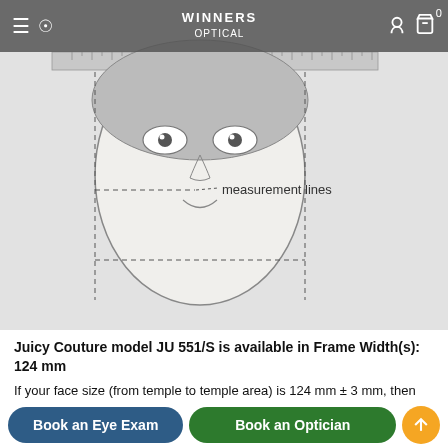WINNERS OPTICAL
[Figure (illustration): Illustration of a face with a straight ruler across the top and dashed measurement lines across the face width]
Juicy Couture model JU 551/S is available in Frame Width(s): 124 mm
If your face size (from temple to temple area) is 124 mm ± 3 mm, then this is a perfect fit frame for you.
Frame Measurements:
| Lens | Lens | Temple Length |
| --- | --- | --- |
| 54 | 16 |  | 130 |